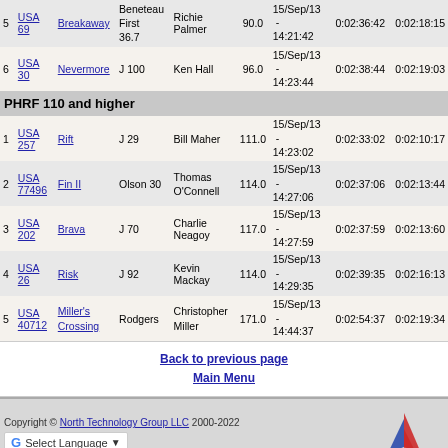| # | Sail | Boat | Class | Skipper | Rating | Finish/Date | Elapsed | Corrected |
| --- | --- | --- | --- | --- | --- | --- | --- | --- |
| 5 | USA 69 | Breakaway | Beneteau First 36.7 | Richie Palmer | 90.0 | 15/Sep/13 - 14:21:42 | 0:02:36:42 | 0:02:18:15 |
| 6 | USA 30 | Nevermore | J 100 | Ken Hall | 96.0 | 15/Sep/13 - 14:23:44 | 0:02:38:44 | 0:02:19:03 |
PHRF 110 and higher
| # | Sail | Boat | Class | Skipper | Rating | Finish/Date | Elapsed | Corrected |
| --- | --- | --- | --- | --- | --- | --- | --- | --- |
| 1 | USA 257 | Rift | J 29 | Bill Maher | 111.0 | 15/Sep/13 - 14:23:02 | 0:02:33:02 | 0:02:10:17 |
| 2 | USA 77496 | Fin II | Olson 30 | Thomas O'Connell | 114.0 | 15/Sep/13 - 14:27:06 | 0:02:37:06 | 0:02:13:44 |
| 3 | USA 202 | Brava | J 70 | Charlie Neagoy | 117.0 | 15/Sep/13 - 14:27:59 | 0:02:37:59 | 0:02:13:60 |
| 4 | USA 26 | Risk | J 92 | Kevin Mackay | 114.0 | 15/Sep/13 - 14:29:35 | 0:02:39:35 | 0:02:16:13 |
| 5 | USA 40712 | Miller's Crossing | Rodgers | Christopher Miller | 171.0 | 15/Sep/13 - 14:44:37 | 0:02:54:37 | 0:02:19:34 |
Back to previous page
Main Menu
Copyright © North Technology Group LLC 2000-2022